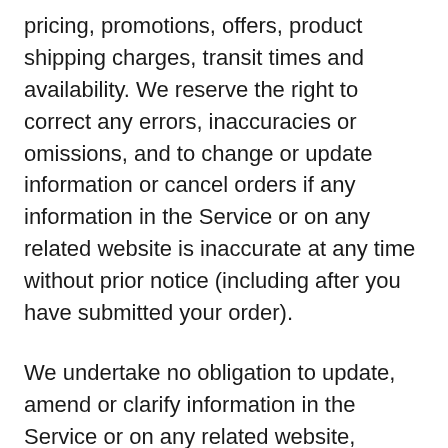pricing, promotions, offers, product shipping charges, transit times and availability. We reserve the right to correct any errors, inaccuracies or omissions, and to change or update information or cancel orders if any information in the Service or on any related website is inaccurate at any time without prior notice (including after you have submitted your order).
We undertake no obligation to update, amend or clarify information in the Service or on any related website, including without limitation, pricing information, except as required by law. No specified update or refresh date applied in the Service or on any related website, should be taken to indicate that all information therein...